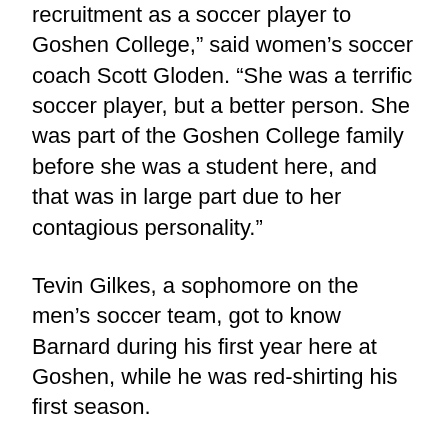recruitment as a soccer player to Goshen College,” said women’s soccer coach Scott Gloden. “She was a terrific soccer player, but a better person. She was part of the Goshen College family before she was a student here, and that was in large part due to her contagious personality.”
Tevin Gilkes, a sophomore on the men’s soccer team, got to know Barnard during his first year here at Goshen, while he was red-shirting his first season.
“She came to every game that season,” said Gilkes. “Anna always had a smile on her face and had words of encouragement. I was very excited to see her play in college, but I know